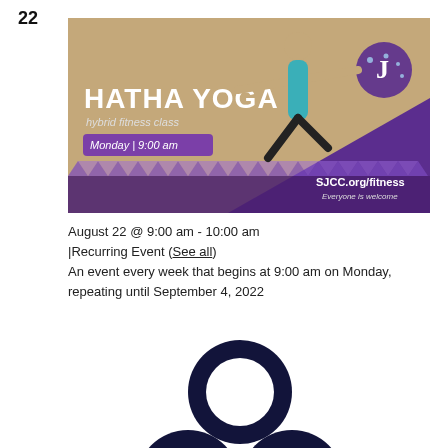22
[Figure (photo): Hatha Yoga hybrid fitness class promotional banner. Shows a woman in yoga pose with arms extended. Text: HATHA YOGA hybrid fitness class, Monday | 9:00 am, SJCC.org/fitness, Everyone is welcome. Purple and tan/beige background with decorative triangle border.]
August 22 @ 9:00 am - 10:00 am
|Recurring Event (See all)
An event every week that begins at 9:00 am on Monday, repeating until September 4, 2022
[Figure (illustration): Three interlocking dark navy blue rings arranged in a triangular pattern (two on bottom, one on top center), partially cropped at bottom. A pink circle with the number 1 and an arrow overlaps the bottom-right ring.]